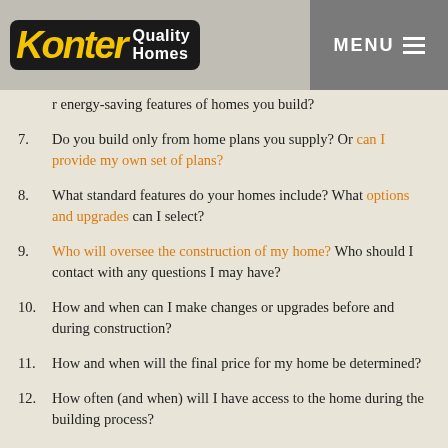Konter Quality Homes | MENU
...r energy-saving features of homes you build?
7. Do you build only from home plans you supply? Or can I provide my own set of plans?
8. What standard features do your homes include? What options and upgrades can I select?
9. Who will oversee the construction of my home? Who should I contact with any questions I may have?
10. How and when can I make changes or upgrades before and during construction?
11. How and when will the final price for my home be determined?
12. How often (and when) will I have access to the home during the building process?